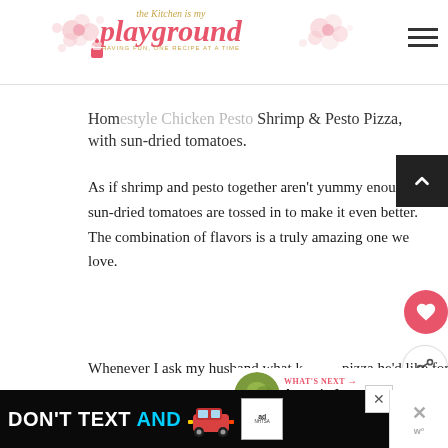The Kitchen is my playground — having fun, one recipe at a time
Homemade Shrimp & Pesto Pizza, with sun-dried tomatoes.
As if shrimp and pesto together aren't yummy enough, sun-dried tomatoes are tossed in to make it even better.  The combination of flavors is a truly amazing one we love.
Whenever I ask my husband what kind of pizza he'd like for dinner, this one is his
[Figure (other): Advertisement banner: DON'T TEXT AND (drive) — NHTSA ad with car emoji]